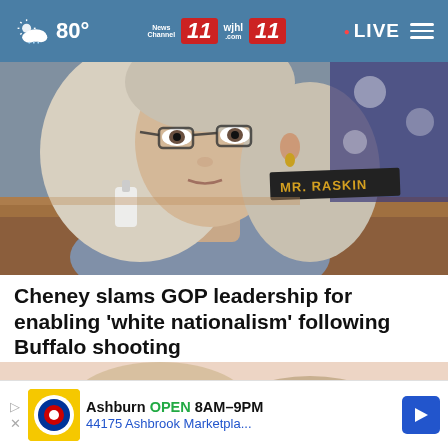80° News Channel 11 wjhl 11 • LIVE
[Figure (photo): Close-up photo of a woman with gray-blonde hair and glasses sitting at a hearing table. A nameplate reading 'MR. RASKIN' is visible in the background along with an American flag.]
Cheney slams GOP leadership for enabling 'white nationalism' following Buffalo shooting
[Figure (photo): Partial photo of a person's legs and sandals against a light pink background, partially obscured by an advertisement overlay.]
Ashburn OPEN 8AM–9PM  44175 Ashbrook Marketpla...